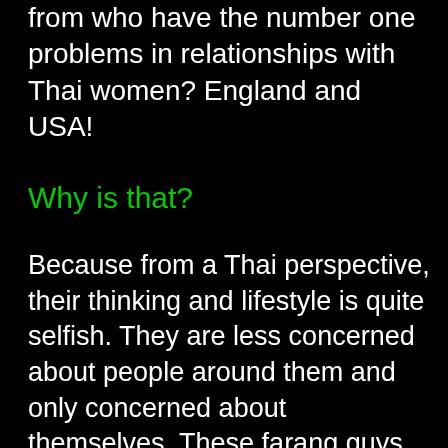from who have the number one problems in relationships with Thai women? England and USA!
Why is that?
Because from a Thai perspective, their thinking and lifestyle is quite selfish. They are less concerned about people around them and only concerned about themselves. These farang guys look after themselves and the girl too, but not the girl's family.
I have friends from Norway and Sweden and they are similar to Thais because they are more family-oriented. They look after their family members and grandparents etc. They understand about a Thai lady's feelings and relationship with her family and how important that is to her. They can understand